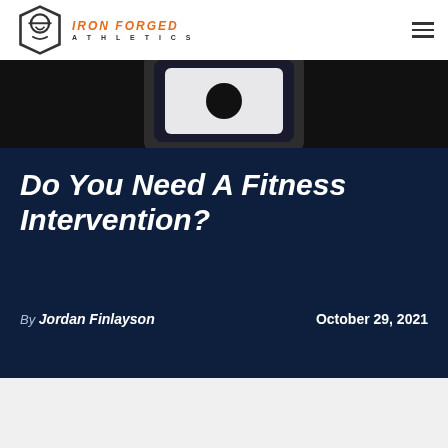Iron Forged Athletics
[Figure (screenshot): Partial view of a phone mockup showing a fitness app screen against a dark background]
Do You Need A Fitness Intervention?
By Jordan Finlayson    October 29, 2021